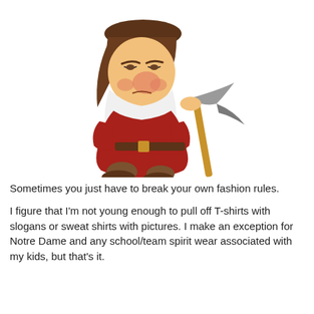[Figure (illustration): Grumpy dwarf from Snow White cartoon, leaning on a pickaxe with a grumpy expression, wearing a red coat and brown hat]
Sometimes you just have to break your own fashion rules.
I figure that I'm not young enough to pull off T-shirts with slogans or sweat shirts with pictures. I make an exception for Notre Dame and any school/team spirit wear associated with my kids, but that's it.